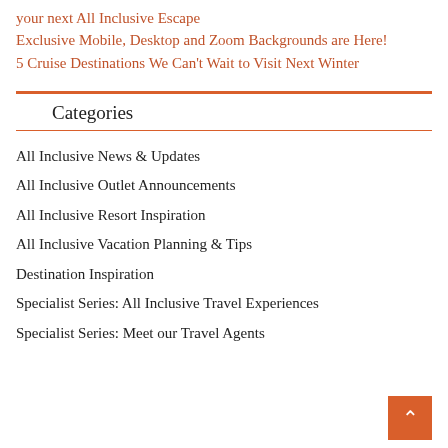your next All Inclusive Escape
Exclusive Mobile, Desktop and Zoom Backgrounds are Here!
5 Cruise Destinations We Can't Wait to Visit Next Winter
Categories
All Inclusive News & Updates
All Inclusive Outlet Announcements
All Inclusive Resort Inspiration
All Inclusive Vacation Planning & Tips
Destination Inspiration
Specialist Series: All Inclusive Travel Experiences
Specialist Series: Meet our Travel Agents